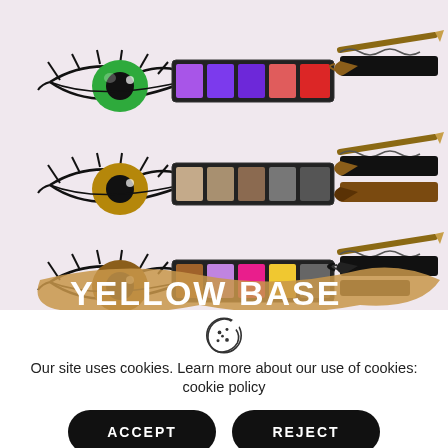[Figure (illustration): Makeup infographic showing three rows of eye illustrations paired with eyeshadow palettes and mascaras. Row 1: green eye with purple/pink palette and brown mascara. Row 2: hazel/brown eye with neutral grey/taupe palette and two mascaras. Row 3: brown eye with colorful brown/purple/pink/yellow/grey palette and mascara. Bottom section shows a golden brushstroke with 'YELLOW BASE' text in white.]
Our site uses cookies. Learn more about our use of cookies: cookie policy
ACCEPT
REJECT